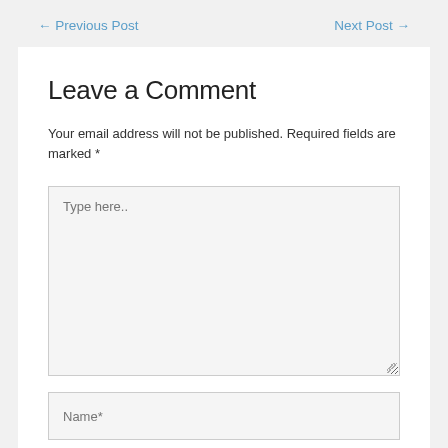← Previous Post    Next Post →
Leave a Comment
Your email address will not be published. Required fields are marked *
[Figure (screenshot): Comment text area input box with placeholder text 'Type here..']
[Figure (screenshot): Name input field with placeholder text 'Name*']